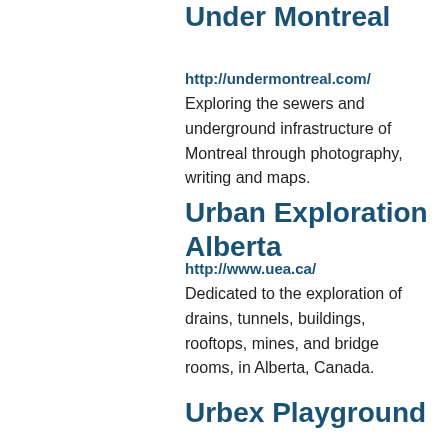Under Montreal
http://undermontreal.com/
Exploring the sewers and underground infrastructure of Montreal through photography, writing and maps.
Urban Exploration Alberta
http://www.uea.ca/
Dedicated to the exploration of drains, tunnels, buildings, rooftops, mines, and bridge rooms, in Alberta, Canada.
Urbex Playground